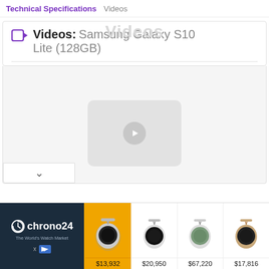Technical Specifications   Videos
Videos: Samsung Galaxy S10 Lite (128GB)
[Figure (screenshot): Video section with a placeholder thumbnail showing a play button icon on a light gray background, with a chevron/expand button at the bottom left.]
[Figure (screenshot): Advertisement banner from Chrono24 - The World's Watch Market, showing four luxury watches with prices: $13,932, $20,950, $67,220, $17,816. First watch on yellow background, others on white.]